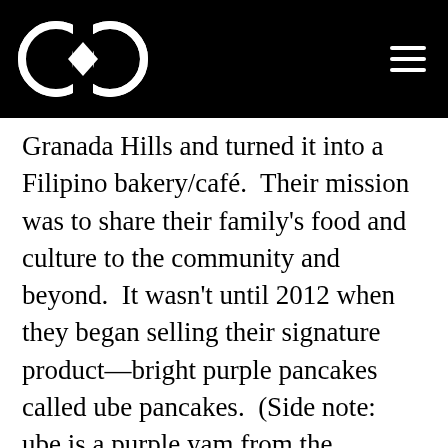[Figure (logo): Black header bar with a white circular logo (two overlapping circles with a diamond shape) on the left and a white hamburger menu icon on the right]
Granada Hills and turned it into a Filipino bakery/café.  Their mission was to share their family's food and culture to the community and beyond.  It wasn't until 2012 when they began selling their signature product—bright purple pancakes called ube pancakes.  (Side note:  ube is a purple yam from the Philippines used in many desserts.  Think sweet potato but bright purple and a bit sweeter.)  From then on, their corner on Chatsworth and White Oak became a community favorite.  An hour wait for seating was standard on a Saturday or Sunday morning.  And, they didn't